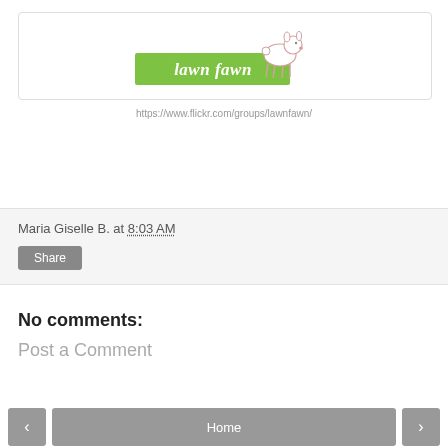[Figure (logo): Lawn Fawn brand logo: a cartoon deer standing on a green banner with cursive text 'lawn fawn']
https://www.flickr.com/groups/lawnfawn/
Maria Giselle B. at 8:03 AM
Share
No comments:
Post a Comment
< Home >